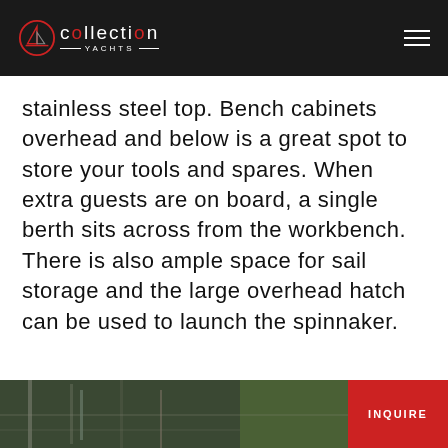Collection Yachts
stainless steel top. Bench cabinets overhead and below is a great spot to store your tools and spares. When extra guests are on board, a single berth sits across from the workbench. There is also ample space for sail storage and the large overhead hatch can be used to launch the spinnaker.
[Figure (photo): Bottom strip showing a yacht or marina scene, partially visible at the bottom of the page.]